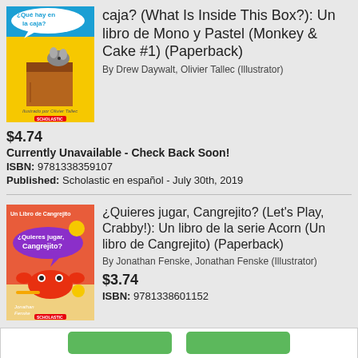[Figure (illustration): Book cover: ¿Qué hay en la caja? (What Is Inside This Box?) - yellow cover with cat and rat illustration, Scholastic]
caja? (What Is Inside This Box?): Un libro de Mono y Pastel (Monkey & Cake #1) (Paperback)
By Drew Daywalt, Olivier Tallec (Illustrator)
$4.74
Currently Unavailable - Check Back Soon!
ISBN: 9781338359107
Published: Scholastic en español - July 30th, 2019
[Figure (illustration): Book cover: ¿Quieres jugar, Cangrejito? (Let's Play, Crabby!) - red/orange cover with crab illustration, purple speech bubble, Scholastic]
¿Quieres jugar, Cangrejito? (Let's Play, Crabby!): Un libro de la serie Acorn (Un libro de Cangrejito) (Paperback)
By Jonathan Fenske, Jonathan Fenske (Illustrator)
$3.74
ISBN: 9781338601152
Availability: Usually Ships in 7-10 Days
Published: Scholastic en español - December 26th, 2019